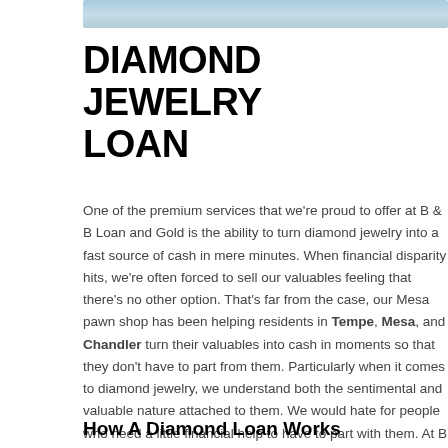[Figure (photo): Partial image banner at top, appears to be a blue sky or landscape photo]
DIAMOND JEWELRY LOAN
One of the premium services that we're proud to offer at B & B Loan and Gold is the ability to turn diamond jewelry into a fast source of cash in mere minutes.  When financial disparity hits, we're often forced to sell our valuables feeling that there's no other option.  That's far from the case, our Mesa pawn shop has been helping residents in Tempe, Mesa, and Chandler turn their valuables into cash in moments so that they don't have to part from them.  Particularly when it comes to diamond jewelry, we understand both the sentimental and valuable nature attached to them. We would hate for people who need a little financial help to have to part with them.  At B & B Pawn and Gold, you can get a diamond jewelry loan in no time at all with access to your jewelry when times are better for you.
How A Diamond Loan Works